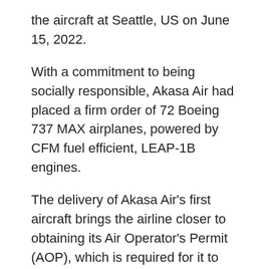the aircraft at Seattle, US on June 15, 2022.
With a commitment to being socially responsible, Akasa Air had placed a firm order of 72 Boeing 737 MAX airplanes, powered by CFM fuel efficient, LEAP-1B engines.
The delivery of Akasa Air's first aircraft brings the airline closer to obtaining its Air Operator's Permit (AOP), which is required for it to launch commercial operations in the country, the airline said in a statement.